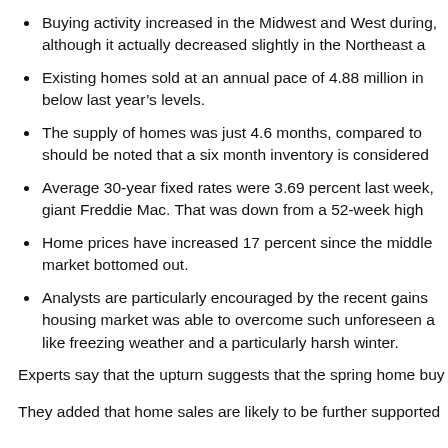Buying activity increased in the Midwest and West during, although it actually decreased slightly in the Northeast a
Existing homes sold at an annual pace of 4.88 million in below last year's levels.
The supply of homes was just 4.6 months, compared to should be noted that a six month inventory is considered
Average 30-year fixed rates were 3.69 percent last week, giant Freddie Mac. That was down from a 52-week high
Home prices have increased 17 percent since the middle market bottomed out.
Analysts are particularly encouraged by the recent gains housing market was able to overcome such unforeseen a like freezing weather and a particularly harsh winter.
Experts say that the upturn suggests that the spring home buy
They added that home sales are likely to be further supported